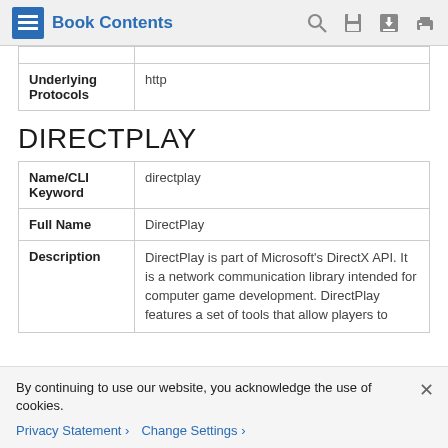Book Contents
| Underlying Protocols | http |
DIRECTPLAY
| Name/CLI Keyword | directplay |
| Full Name | DirectPlay |
| Description | DirectPlay is part of Microsoft's DirectX API. It is a network communication library intended for computer game development. DirectPlay features a set of tools that allow players to |
By continuing to use our website, you acknowledge the use of cookies.
Privacy Statement > Change Settings >